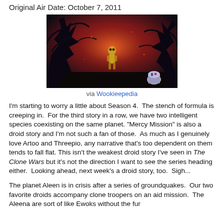Original Air Date: October 7, 2011
[Figure (photo): Scene from The Clone Wars Season 4 showing C-3PO (golden droid) surrounded by dark twisted tree-like creatures against a dramatic red-orange sky, with R2-D2 partially visible at bottom right.]
via Wookieepedia
I'm starting to worry a little about Season 4. The stench of formula is creeping in. For the third story in a row, we have two intelligent species coexisting on the same planet. "Mercy Mission" is also a droid story and I'm not such a fan of those. As much as I genuinely love Artoo and Threepio, any narrative that's too dependent on them tends to fall flat. This isn't the weakest droid story I've seen in The Clone Wars but it's not the direction I want to see the series heading either. Looking ahead, next week's a droid story, too. Sigh...
The planet Aleen is in crisis after a series of groundquakes. Our two favorite droids accompany clone troopers on an aid mission. The Aleena are sort of like Ewoks without the fur